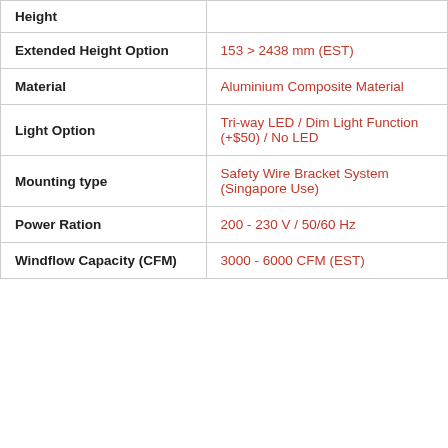| Property | Value |
| --- | --- |
| Height |  |
| Extended Height Option | 153 > 2438 mm (EST) |
| Material | Aluminium Composite Material |
| Light Option | Tri-way LED / Dim Light Function (+$50) / No LED |
| Mounting type | Safety Wire Bracket System (Singapore Use) |
| Power Ration | 200 - 230 V / 50/60 Hz |
| Windflow Capacity (CFM) | 3000 - 6000 CFM (EST) |